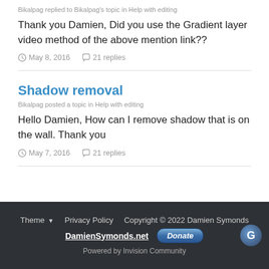Bikalpag replied to Bikalpag's topic in Help with editing
Thank you Damien, Did you use the Gradient layer video method of the above mention link??
May 8, 2016   21 replies
Shadow removal
Bikalpag posted a topic in Help with editing
Hello Damien, How can I remove shadow that is on the wall. Thank you
May 7, 2016   21 replies
Theme  Privacy Policy  Copyright © 2022 Damien Symonds  DamienSymonds.net  Donate  Powered by Invision Community